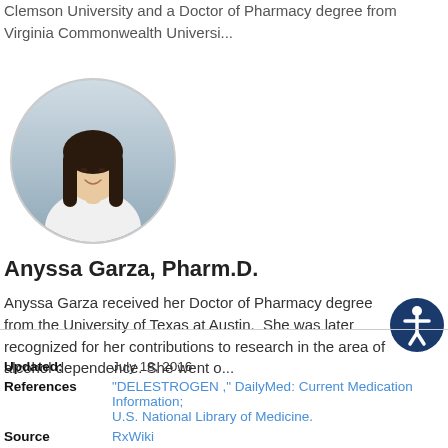Clemson University and a Doctor of Pharmacy degree from Virginia Commonwealth Universi...
[Figure (photo): Circular profile photo of Anyssa Garza, a woman with long dark hair wearing a white coat, smiling]
Anyssa Garza, Pharm.D.
Anyssa Garza received her Doctor of Pharmacy degree from the University of Texas at Austin. She was later recognized for her contributions to research in the area of alcohol dependence. She went o...
Updated: July 18, 2016
References "DELESTROGEN ," DailyMed: Current Medication Information; U.S. National Library of Medicine.
Source RxWiki